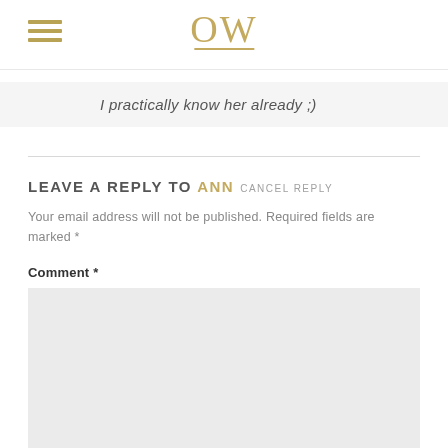OW (logo with hamburger menu)
I practically know her already ;)
LEAVE A REPLY TO ANN CANCEL REPLY
Your email address will not be published. Required fields are marked *
Comment *